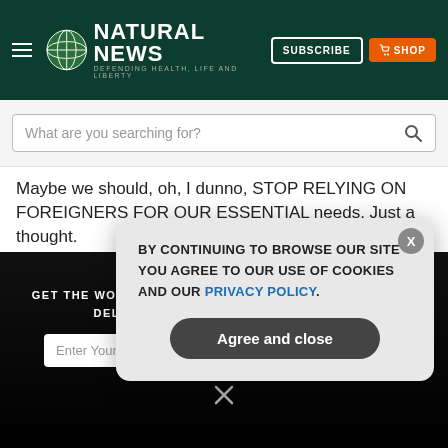Natural News — Defending Health, Life and Liberty
What are you searching for?
Maybe we should, oh, I dunno, STOP RELYING ON FOREIGNERS FOR OUR ESSENTIAL needs. Just a thought.
7 ↑ | ↓ Reply
KhatanandKallah → Randy L Kyle
6 months ago
GET THE WORLD'S BEST NATURAL HEALTH NEWSLETTER DELIVERED STRAIGHT TO YOUR INBOX
BY CONTINUING TO BROWSE OUR SITE YOU AGREE TO OUR USE OF COOKIES AND OUR PRIVACY POLICY.
Agree and close